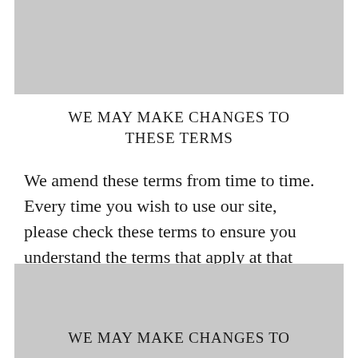[Figure (other): Gray rectangular banner at the top of the page]
WE MAY MAKE CHANGES TO THESE TERMS
We amend these terms from time to time. Every time you wish to use our site, please check these terms to ensure you understand the terms that apply at that time.
[Figure (other): Gray rectangular banner at the bottom of the page with partial section header text]
WE MAY MAKE CHANGES TO